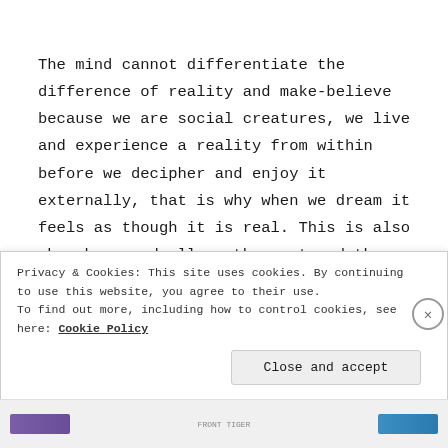The mind cannot differentiate the difference of reality and make-believe because we are social creatures, we live and experience a reality from within before we decipher and enjoy it externally, that is why when we dream it feels as though it is real. This is also why when we dwell on the past and the future we experience it throughout our body. The way we look and understand our selves in the moment will also play an effect on how we are perceived and how much we are willing
Privacy & Cookies: This site uses cookies. By continuing to use this website, you agree to their use.
To find out more, including how to control cookies, see here: Cookie Policy
Close and accept